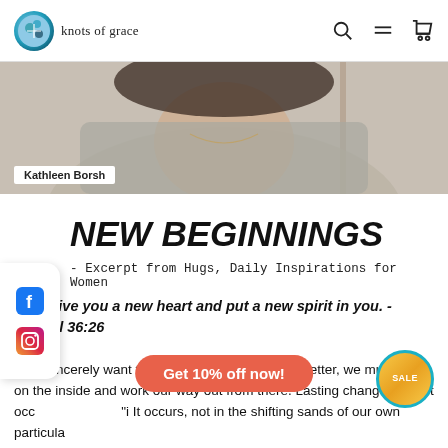knots of grace
[Figure (photo): Partial photo of a woman wearing a light gray sweater and a necklace, with a name tag overlay reading 'Kathleen Borsh']
NEW BEGINNINGS
- Excerpt from Hugs, Daily Inspirations for Women
I will give you a new heart and put a new spirit in you. - Ezekiel 36:26
If we sincerely want to change ourselves for the better, we must start on the inside and work our way out from there. Lasting change doesn't occ... It occurs, not in the shifting sands of our own particular